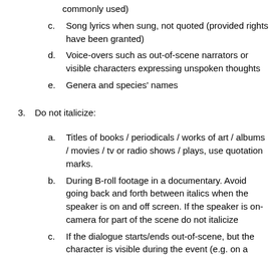commonly used)
c. Song lyrics when sung, not quoted (provided rights have been granted)
d. Voice-overs such as out-of-scene narrators or visible characters expressing unspoken thoughts
e. Genera and species' names
3. Do not italicize:
a. Titles of books / periodicals / works of art / albums / movies / tv or radio shows / plays, use quotation marks.
b. During B-roll footage in a documentary. Avoid going back and forth between italics when the speaker is on and off screen. If the speaker is on-camera for part of the scene do not italicize
c. If the dialogue starts/ends out-of-scene, but the character is visible during the event (e.g. on a